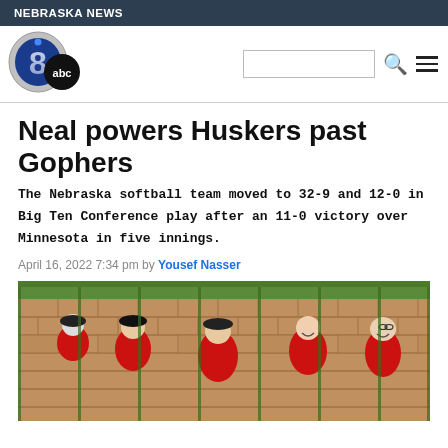NEBRASKA NEWS
[Figure (logo): 8 abc news logo — blue/silver circle with number 8 and abc text]
Neal powers Huskers past Gophers
The Nebraska softball team moved to 32-9 and 12-0 in Big Ten Conference play after an 11-0 victory over Minnesota in five innings.
April 16, 2022 7:34 pm by Yousef Nasser
[Figure (photo): Softball players in red and black jerseys celebrating near a fence with tiled brick wall background]